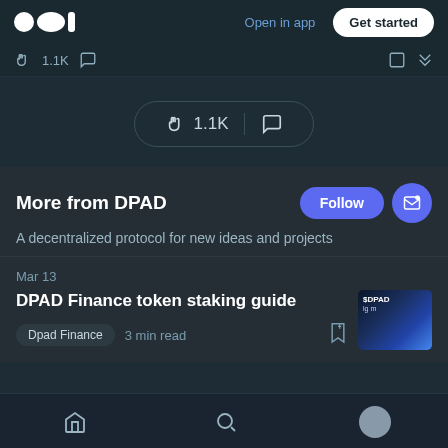Open in app  Get started
1.1K
[Figure (screenshot): Clapping count pill with 1.1K claps and comment icon]
More from DPAD
A decentralized protocol for new ideas and projects
Mar 13
DPAD Finance token staking guide
Dpad Finance  3 min read
Home  Search  Profile